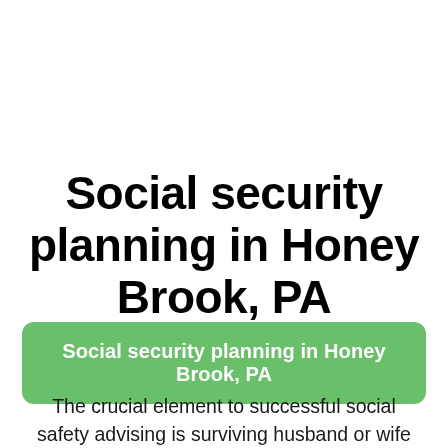Social security planning in Honey Brook, PA
Social security planning in Honey Brook, PA
The crucial element to successful social safety advising is surviving husband or wife planning. In the end, your partner